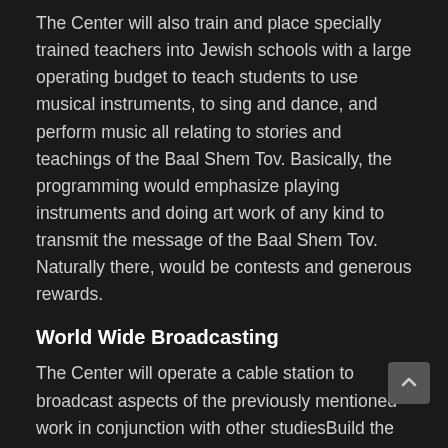The Center will also train and place specially trained teachers into Jewish schools with a large operating budget to teach students to use musical instruments, to sing and dance, and perform music all relating to stories and teachings of the Baal Shem Tov. Basically, the programming would emphasize playing instruments and doing art work of any kind to transmit the message of the Baal Shem Tov. Naturally there, would be contests and generous rewards.
World Wide Broadcasting
The Center will operate a cable station to broadcast aspects of the previously mentioned work in conjunction with other studiesBuild the Star including Chumash, Tanya, Siddur, Rambam, Laws of Shabbos and Yom Tov, and Mezuzah. These subjects are to increase the knowledge base of our Jewish brethren